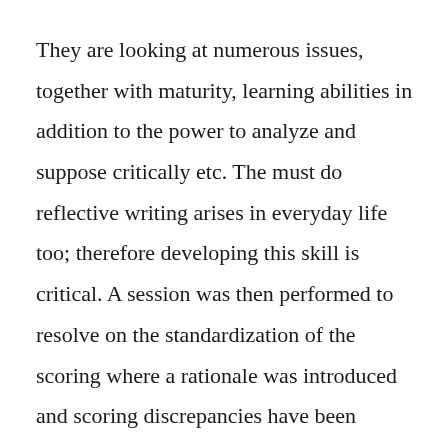They are looking at numerous issues, together with maturity, learning abilities in addition to the power to analyze and suppose critically etc. The must do reflective writing arises in everyday life too; therefore developing this skill is critical. A session was then performed to resolve on the standardization of the scoring where a rationale was introduced and scoring discrepancies have been resolved after which a scoring consensus was reached.